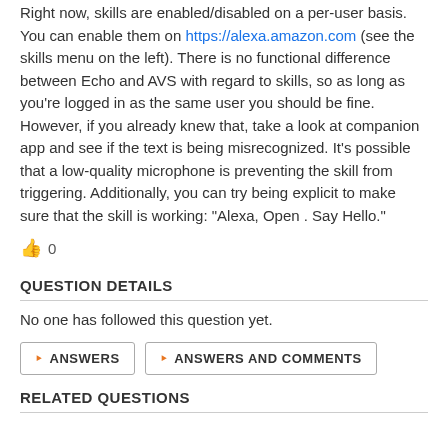Right now, skills are enabled/disabled on a per-user basis. You can enable them on https://alexa.amazon.com (see the skills menu on the left). There is no functional difference between Echo and AVS with regard to skills, so as long as you're logged in as the same user you should be fine. However, if you already knew that, take a look at companion app and see if the text is being misrecognized. It's possible that a low-quality microphone is preventing the skill from triggering. Additionally, you can try being explicit to make sure that the skill is working: "Alexa, Open . Say Hello."
👍 0
QUESTION DETAILS
No one has followed this question yet.
RSS ANSWERS    RSS ANSWERS AND COMMENTS
RELATED QUESTIONS